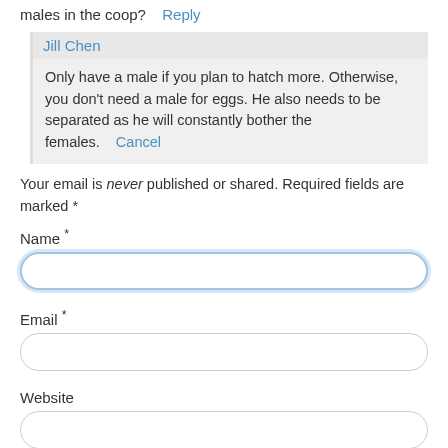I only want to raise quail for eggs not for meat. Should I have males in the coop?
Reply
Jill Chen
Only have a male if you plan to hatch more. Otherwise, you don't need a male for eggs. He also needs to be separated as he will constantly bother the females.
Cancel
Your email is never published or shared. Required fields are marked *
Name *
Email *
Website
Comment